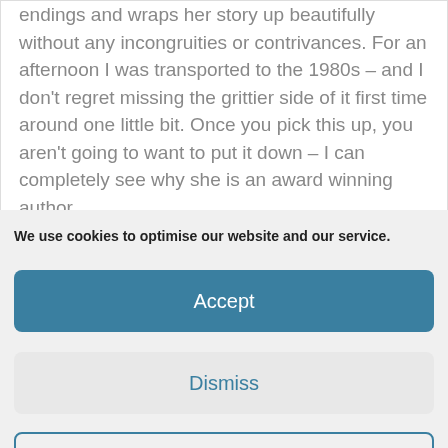endings and wraps her story up beautifully without any incongruities or contrivances. For an afternoon I was transported to the 1980s – and I don't regret missing the grittier side of it first time around one little bit. Once you pick this up, you aren't going to want to put it down – I can completely see why she is an award winning author,
We use cookies to optimise our website and our service.
Accept
Dismiss
Preferences